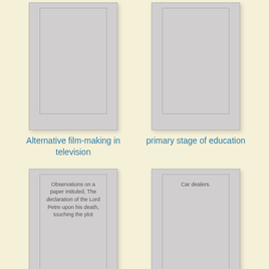[Figure (illustration): Book cover placeholder - top left, gray rectangle representing a book for 'Alternative film-making in television']
[Figure (illustration): Book cover placeholder - top right, gray rectangle representing a book for 'primary stage of education']
Alternative film-making in television
primary stage of education
[Figure (illustration): Book cover placeholder - bottom left, gray rectangle with text 'Observations on a paper intituled, The declaration of the Lord Petre upon his death, touching the plot']
[Figure (illustration): Book cover placeholder - bottom right, gray rectangle with text 'Car dealers.']
Observations on a paper
Car dealers.